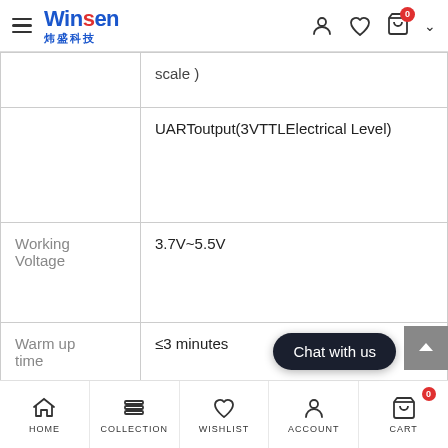Winsen 炜盛科技
|  | scale ) |
|  | UARToutput(3VTTLElectrical Level) |
| Working Voltage | 3.7V~5.5V |
| Warm up time | ≤3 minutes |
[Figure (screenshot): Bottom navigation bar with HOME, COLLECTION, WISHLIST, ACCOUNT, CART icons and Chat with us button]